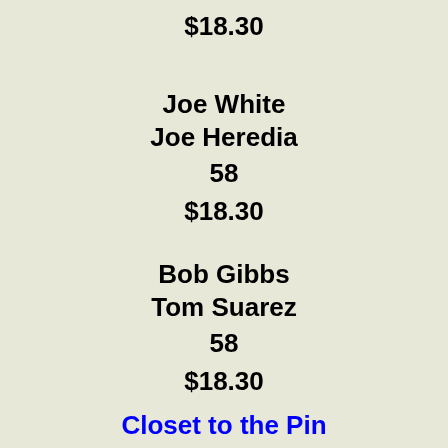$18.30
Joe White
Joe Heredia
58
$18.30
Bob Gibbs
Tom Suarez
58
$18.30
Closet to the Pin